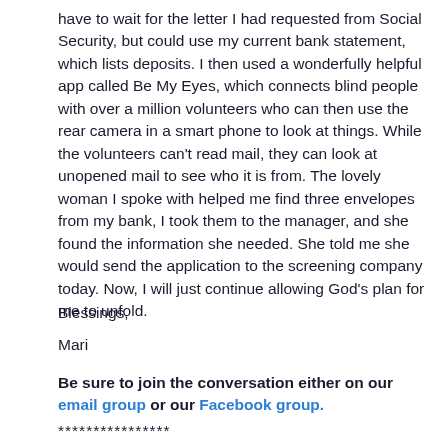have to wait for the letter I had requested from Social Security, but could use my current bank statement, which lists deposits. I then used a wonderfully helpful app called Be My Eyes, which connects blind people with over a million volunteers who can then use the rear camera in a smart phone to look at things. While the volunteers can't read mail, they can look at unopened mail to see who it is from. The lovely woman I spoke with helped me find three envelopes from my bank, I took them to the manager, and she found the information she needed. She told me she would send the application to the screening company today. Now, I will just continue allowing God's plan for me to unfold.
Blessings,
Mari
Be sure to join the conversation either on our email group or our Facebook group.
****************